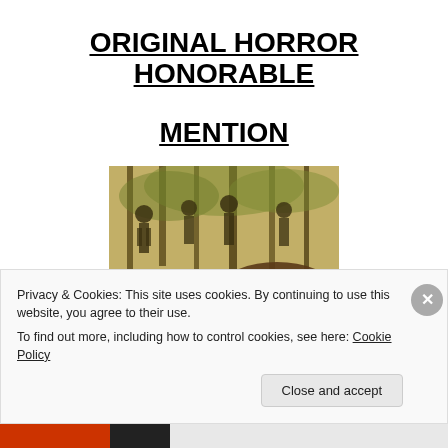ORIGINAL HORROR HONORABLE MENTION
[Figure (photo): Horror movie promotional image showing shadowy figures standing among trees in a sepia-toned forest scene, with a close-up of a woman's face with wide, frightened eyes in the foreground.]
Privacy & Cookies: This site uses cookies. By continuing to use this website, you agree to their use.
To find out more, including how to control cookies, see here: Cookie Policy
Close and accept